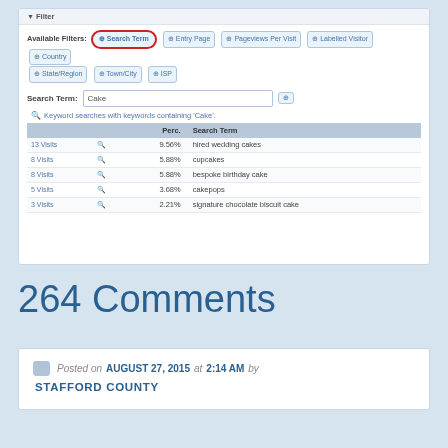[Figure (screenshot): Web analytics filter panel showing 'Search Term' filter circled in red, with a search input containing 'Cake' and a table of keyword search results including hired wedding cakes (9.56%), cupcakes (5.88%), bespoke birthday cake (5.88%), cakepops (3.68%), signature chocolate biscuit cake (2.21%)]
264 Comments
Posted on AUGUST 27, 2015 at 2:14 AM by STAFFORD COUNTY